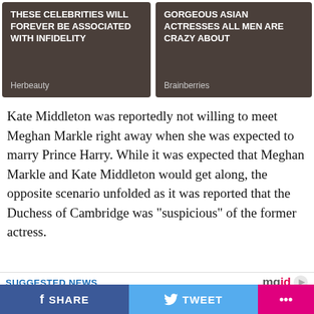[Figure (other): Ad tile: 'These celebrities will forever be associated with infidelity' from Herbeauty, dark brown background]
[Figure (other): Ad tile: 'Gorgeous Asian Actresses All Men Are Crazy About' from Brainberries, dark brown background]
Kate Middleton was reportedly not willing to meet Meghan Markle right away when she was expected to marry Prince Harry. While it was expected that Meghan Markle and Kate Middleton would get along, the opposite scenario unfolded as it was reported that the Duchess of Cambridge was “suspicious” of the former actress.
SUGGESTED NEWS
[Figure (photo): Photo of a fuzzy caterpillar being held in a hand]
These Animal Species Have Created Their Pharmacies
[Figure (logo): mgid logo with play button]
SHARE
TWEET
...